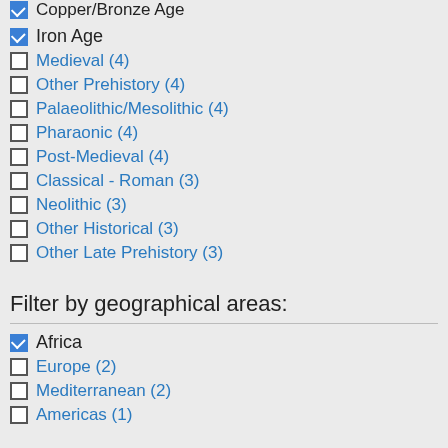Copper/Bronze Age (checked, clipped at top)
Iron Age (checked)
Medieval (4)
Other Prehistory (4)
Palaeolithic/Mesolithic (4)
Pharaonic (4)
Post-Medieval (4)
Classical - Roman (3)
Neolithic (3)
Other Historical (3)
Other Late Prehistory (3)
Filter by geographical areas:
Africa (checked)
Europe (2)
Mediterranean (2)
Americas (1)